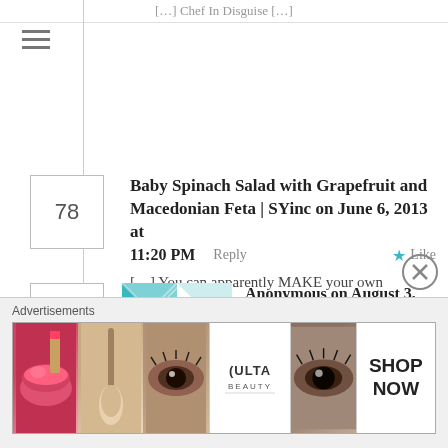[…] Chef In Disguise […]
≡
Baby Spinach Salad with Grapefruit and Macedonian Feta | SYinc on June 6, 2013 at 11:20 PM   Reply   ★ Like
[…] You can apparently MAKE your own Macedonian feta. Not that I've ever done it.  I choose to stop at Nuba, this great […]
Anonymous on August 3, 2013 at 12:44 AM   Reply   ★ Like
thanks for the recipe
Advertisements
[Figure (photo): ULTA beauty advertisement banner with makeup images (lips, brush, eye, logo, eye shadow) and SHOP NOW call to action]